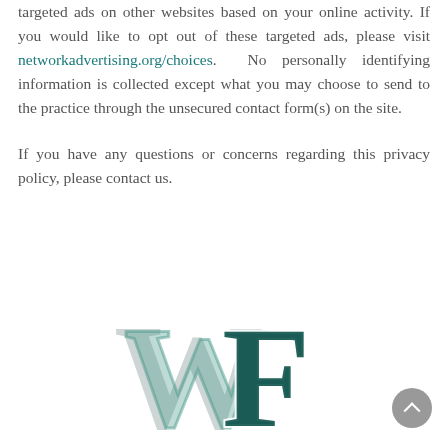targeted ads on other websites based on your online activity. If you would like to opt out of these targeted ads, please visit networkadvertising.org/choices. No personally identifying information is collected except what you may choose to send to the practice through the unsecured contact form(s) on the site.
If you have any questions or concerns regarding this privacy policy, please contact us.
[Figure (logo): WF monogram logo with overlapping W and F letters in teal/dark teal and light grey colors]